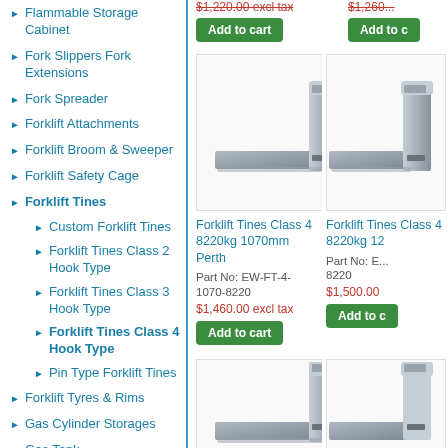Flammable Storage Cabinet
Fork Slippers Fork Extensions
Fork Spreader
Forklift Attachments
Forklift Broom & Sweeper
Forklift Safety Cage
Forklift Tines
Custom Forklift Tines
Forklift Tines Class 2 Hook Type
Forklift Tines Class 3 Hook Type
Forklift Tines Class 4 Hook Type
Pin Type Forklift Tines
Forklift Tyres & Rims
Gas Cylinder Storages
Gas Tank
Add to cart (top left, price cut off)
Add to cart (top right, price cut off)
[Figure (photo): Forklift Tines Class 4 8220kg 1070mm Perth - product photo showing L-shaped forklift tine in grey]
Forklift Tines Class 4 8220kg 1070mm Perth
Part No: EW-FT-4-1070-8220
$1,460.00 excl tax
Add to cart
[Figure (photo): Forklift Tines Class 4 8220kg 12... - product photo partially visible, showing forklift tine]
Forklift Tines Class 4 8220kg 12...
Part No: E... 8220
$1,500.00
Add to c...
[Figure (photo): Third product image showing forklift tine, partially visible]
[Figure (photo): Fourth product image partially visible on far right]